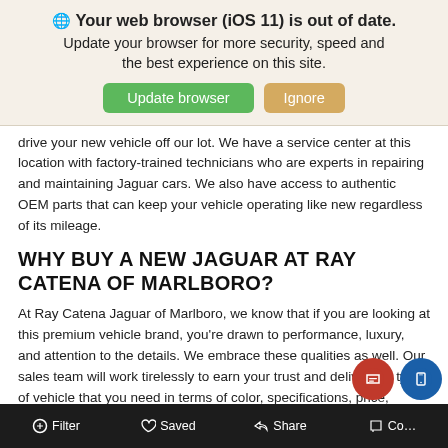🌐 Your web browser (iOS 11) is out of date. Update your browser for more security, speed and the best experience on this site.
drive your new vehicle off our lot. We have a service center at this location with factory-trained technicians who are experts in repairing and maintaining Jaguar cars. We also have access to authentic OEM parts that can keep your vehicle operating like new regardless of its mileage.
WHY BUY A NEW JAGUAR AT RAY CATENA OF MARLBORO?
At Ray Catena Jaguar of Marlboro, we know that if you are looking at this premium vehicle brand, you're drawn to performance, luxury, and attention to the details. We embrace these qualities as well. Our sales team will work tirelessly to earn your trust and deliver the type of vehicle that you need in terms of color, specifications, price, details, and features. We usually offer a retailer price that is below MSRP. We are also transparent about retailer fees and other costs. Also, we have a dealership location
Filter   Saved   Share   Co…